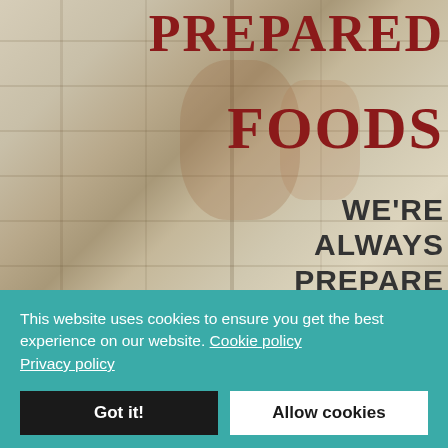[Figure (photo): Blurred wooden background with warm beige and brown tones, appears to be a rustic food/restaurant setting]
PREPARED FOODS
WE'RE ALWAYS PREPARE TO
This website uses cookies to ensure you get the best experience on our website. Cookie policy Privacy policy
Got it!
Allow cookies